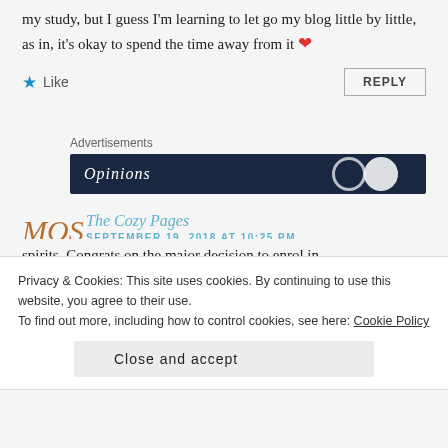my study, but I guess I'm learning to let go my blog little by little, as in, it's okay to spend the time away from it ❤
★ Like
REPLY
Advertisements
[Figure (screenshot): Advertisement banner with dark navy background showing 'Opinions' text and circular icons]
The Cozy Pages
SEPTEMBER 19, 2018 AT 10:25 PM
Privacy & Cookies: This site uses cookies. By continuing to use this website, you agree to their use.
To find out more, including how to control cookies, see here: Cookie Policy
Close and accept
spirits. Congrats on the major decision to enrol in